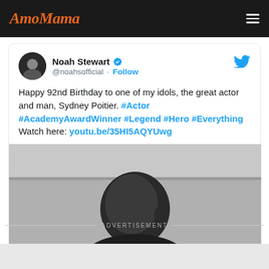AmoMama
[Figure (screenshot): Tweet by Noah Stewart (@noahsofficial) with verified badge, wishing Sydney Poitier a Happy 92nd Birthday, with hashtags #Actor #AcademyAwardWinner #Legend #Hero #Everything and a YouTube link. Includes a black and white photo of Sydney Poitier.]
ADVERTISEMENT